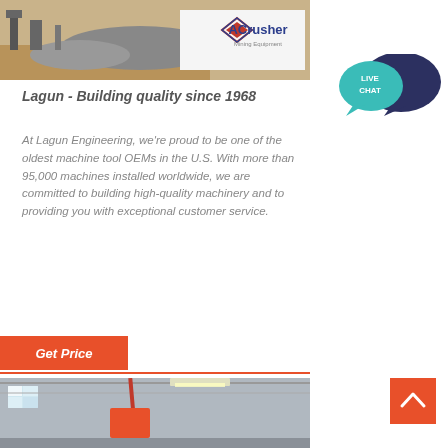[Figure (photo): Outdoor mining/quarry site with equipment, gravel piles, and ACrusher Mining Equipment logo overlay]
Lagun - Building quality since 1968
At Lagun Engineering, we're proud to be one of the oldest machine tool OEMs in the U.S. With more than 95,000 machines installed worldwide, we are committed to building high-quality machinery and to providing you with exceptional customer service.
[Figure (illustration): Live Chat speech bubble icon with teal and dark blue colors]
[Figure (photo): Interior industrial/warehouse photo with red structural elements hanging from ceiling]
[Figure (illustration): Orange scroll-to-top button with upward chevron arrow]